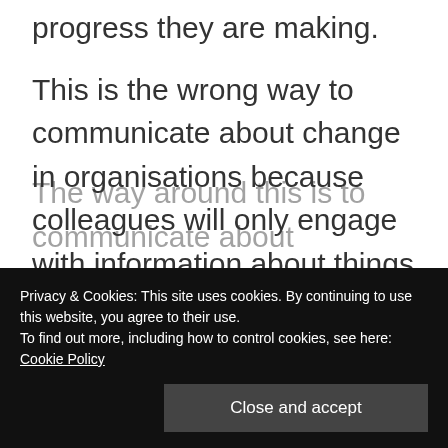progress they are making.
This is the wrong way to communicate about change in organisations because colleagues will only engage with information about things that specifically impact on them and their day job. Abstract and distant explanations of what this and that project is up to won't satisfy that need and help them to join up the different bits of change that are being delivered by a multitude of projects. They need the picture of the finished
The way around this is to communicate about
Privacy & Cookies: This site uses cookies. By continuing to use this website, you agree to their use.
To find out more, including how to control cookies, see here: Cookie Policy
Close and accept